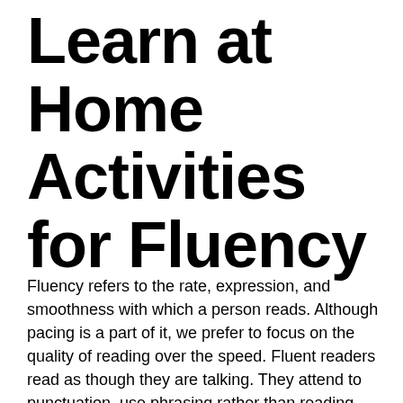Learn at Home Activities for Fluency
Fluency refers to the rate, expression, and smoothness with which a person reads. Although pacing is a part of it, we prefer to focus on the quality of reading over the speed. Fluent readers read as though they are talking. They attend to punctuation, use phrasing rather than reading word for word, use different voices to represent characters in dialogue, and change their tone to convey meaning from the text...